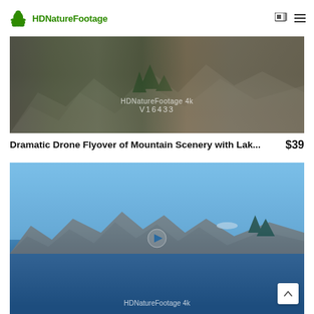HDNatureFootage
[Figure (photo): Drone footage thumbnail of mountain scenery with rock formations and trees, watermark shows 'HDNatureFootage 4k V16433']
Dramatic Drone Flyover of Mountain Scenery with Lak...  $39
[Figure (photo): Video thumbnail of lake scenery with rocky outcroppings and blue sky, play button visible, watermark shows 'HDNatureFootage 4k']